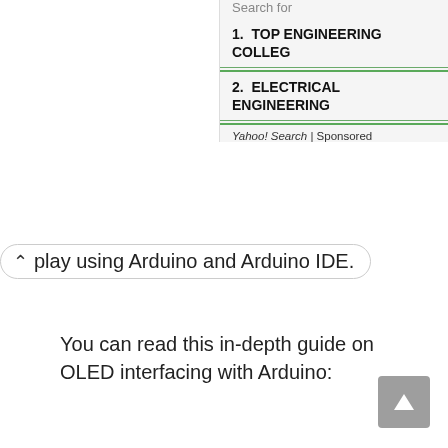Search for
1. TOP ENGINEERING COLLEGES
2. ELECTRICAL ENGINEERING
Yahoo! Search | Sponsored
play using Arduino and Arduino IDE.
You can read this in-depth guide on OLED interfacing with Arduino: